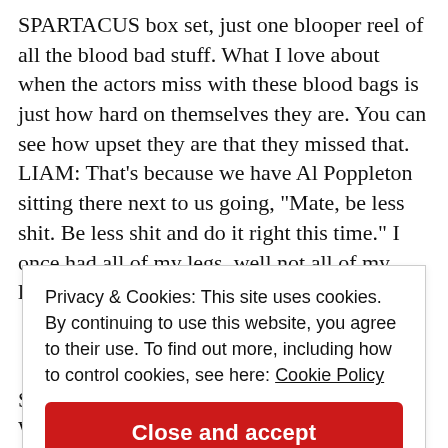SPARTACUS box set, just one blooper reel of all the blood bad stuff. What I love about when the actors miss with these blood bags is just how hard on themselves they are. You can see how upset they are that they missed that. LIAM: That's because we have Al Poppleton sitting there next to us going, "Mate, be less shit. Be less shit and do it right this time." I once had all of my legs, well not all of my legs, all of
Privacy & Cookies: This site uses cookies. By continuing to use this website, you agree to their use. To find out more, including how to control cookies, see here: Cookie Policy
Close and accept
STEVEN: Sure, there are many epic battles. We